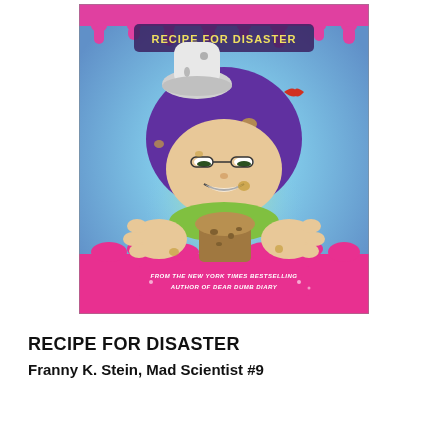[Figure (illustration): Book cover of 'Franny K. Stein, Mad Scientist: Recipe for Disaster'. Features a cartoon girl with purple hair and a chef's hat, holding a muffin/baked good, surrounded by colorful splatter effects in pink, blue, green. Text on cover reads 'Recipe for Disaster' and 'From the New York Times Bestselling Author of Dear Dumb Diary'.]
RECIPE FOR DISASTER
Franny K. Stein, Mad Scientist #9